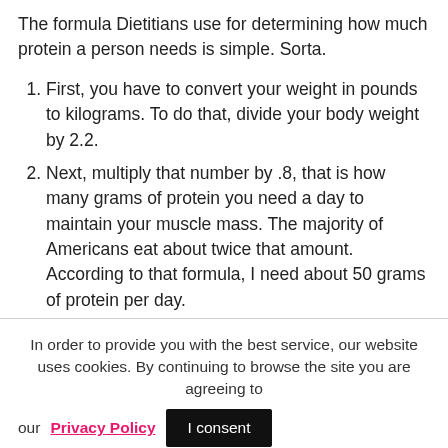The formula Dietitians use for determining how much protein a person needs is simple. Sorta.
First, you have to convert your weight in pounds to kilograms. To do that, divide your body weight by 2.2.
Next, multiply that number by .8, that is how many grams of protein you need a day to maintain your muscle mass. The majority of Americans eat about twice that amount. According to that formula, I about 50 grams of protein per day.
To increase muscle mass via weight training, you don't need a huge increase in your protein intake
In order to provide you with the best service, our website uses cookies. By continuing to browse the site you are agreeing to our Privacy Policy  I consent